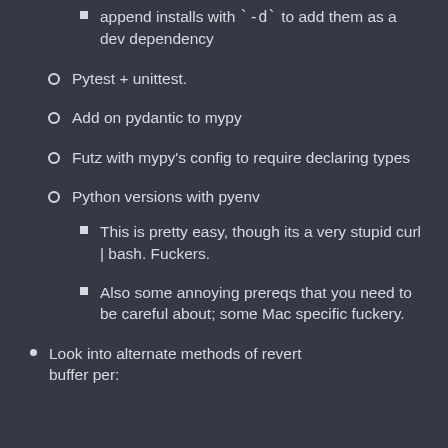append installs with `-d` to add them as a dev dependency
Pytest + unittest.
Add on pydantic to mypy
Futz with mypy's config to require declaring types
Python versions with pyenv
This is pretty easy, though its a very stupid curl | bash. Fuckers.
Also some annoying prereqs that you need to be careful about; some Mac specific fuckery.
Look into alternate methods of revert buffer per: